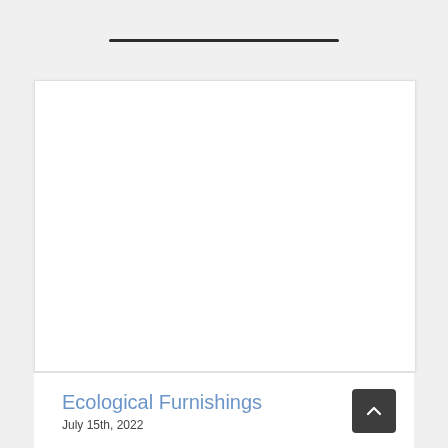[Figure (other): Large white content card area, blank/empty white rectangle]
Ecological Furnishings
July 15th, 2022